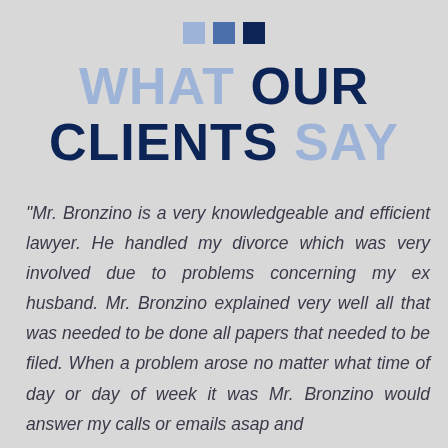[Figure (illustration): Three decorative squares in graduating shades of blue (light blue, medium blue, dark navy) arranged horizontally as a design accent]
WHAT OUR CLIENTS SAY
“Mr. Bronzino is a very knowledgeable and efficient lawyer. He handled my divorce which was very involved due to problems concerning my ex husband. Mr. Bronzino explained very well all that was needed to be done all papers that needed to be filed. When a problem arose no matter what time of day or day of week it was Mr. Bronzino would answer my calls or emails asap and